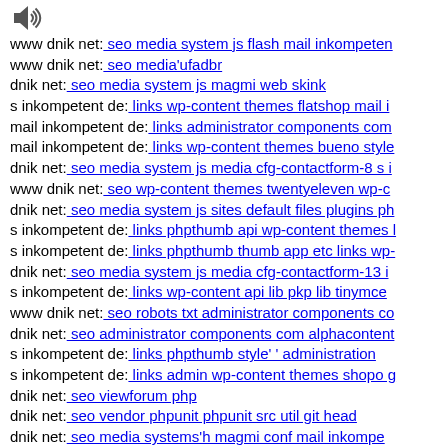[Figure (other): Speaker/audio icon]
www dnik net: seo media system js flash mail inkompeten…
www dnik net: seo media'ufadbr
dnik net: seo media system js magmi web skink
s inkompetent de: links wp-content themes flatshop mail i…
mail inkompetent de: links administrator components com…
mail inkompetent de: links wp-content themes bueno style…
dnik net: seo media system js media cfg-contactform-8 s i…
www dnik net: seo wp-content themes twentyeleven wp-c…
dnik net: seo media system js sites default files plugins ph…
s inkompetent de: links phpthumb api wp-content themes l…
s inkompetent de: links phpthumb thumb app etc links wp-…
dnik net: seo media system js media cfg-contactform-13 i…
s inkompetent de: links wp-content api lib pkp lib tinymce…
www dnik net: seo robots txt administrator components co…
dnik net: seo administrator components com alphacontent…
s inkompetent de: links phpthumb style' ' administration
s inkompetent de: links admin wp-content themes shopo g…
dnik net: seo viewforum php
dnik net: seo vendor phpunit phpunit src util git head
dnik net: seo media systems'h magmi conf mail inkompe…